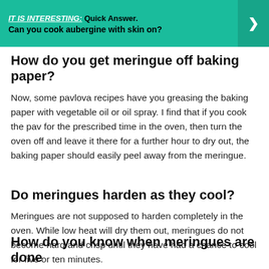[Figure (infographic): Teal banner with bold text: IT IS INTERESTING: Quick Answer. Can you cook aubergine with skin on? with a right-pointing arrow on the right side.]
How do you get meringue off baking paper?
Now, some pavlova recipes have you greasing the baking paper with vegetable oil or oil spray. I find that if you cook the pav for the prescribed time in the oven, then turn the oven off and leave it there for a further hour to dry out, the baking paper should easily peel away from the meringue.
Do meringues harden as they cool?
Meringues are not supposed to harden completely in the oven. While low heat will dry them out, meringues do not become hard and crisp until they have had a chance to cool for five or ten minutes.
How do you know when meringues are done